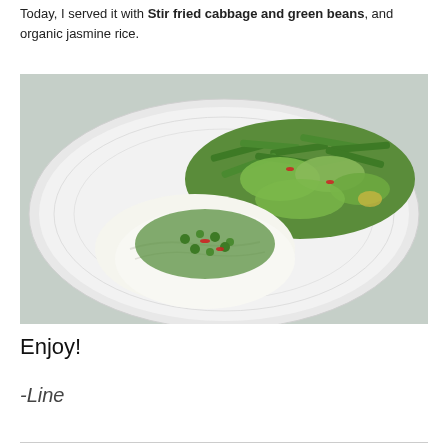Today, I served it with Stir fried cabbage and green beans, and organic jasmine rice.
[Figure (photo): A white plate with steamed white fish topped with green herb and chili relish, served alongside stir-fried cabbage and green beans.]
Enjoy!
-Line